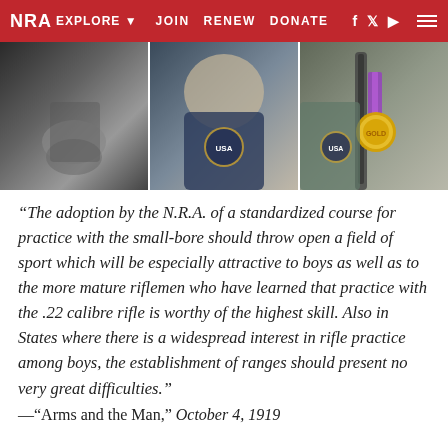NRA EXPLORE ▼   JOIN   RENEW   DONATE   f   y   ▶
[Figure (photo): Three-panel photo strip: left panel shows black-and-white photo of hands, center panel shows color photo of person wearing USA patch on jacket, right panel shows color photo of person holding rifle with gold Olympic medal.]
“The adoption by the N.R.A. of a standardized course for practice with the small-bore should throw open a field of sport which will be especially attractive to boys as well as to the more mature riflemen who have learned that practice with the .22 calibre rifle is worthy of the highest skill. Also in States where there is a widespread interest in rifle practice among boys, the establishment of ranges should present no very great difficulties.”
—“Arms and the Man,” October 4, 1919